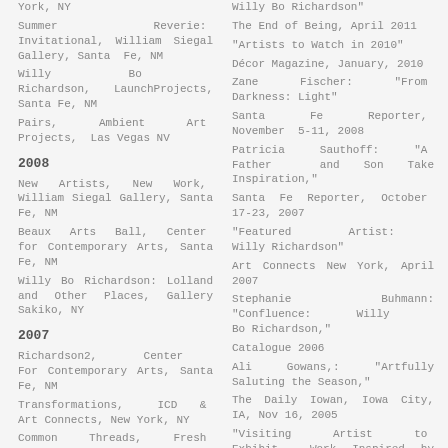York, NY
Summer Reverie: Invitational, William Siegal Gallery, Santa Fe, NM
Willy Bo Richardson, LaunchProjects, Santa Fe, NM
Pairs, Ambient Art Projects, Las Vegas NV
2008
New Artists, New Work, William Siegal Gallery, Santa Fe, NM
Beaux Arts Ball, Center for Contemporary Arts, Santa Fe, NM
Willy Bo Richardson: Lolland and Other Places, Gallery Sakiko, NY
2007
Richardson2, Center For Contemporary Arts, Santa Fe, NM
Transformations, ICD & Art Connects, New York, NY
Common Threads, Fresh Paint, Los Angeles, CA
Water, The Gallery, Sag Harbor, NY
Willy Bo Richardson"
The End of Being, April 2011
"Artists to Watch in 2010"
Décor Magazine, January, 2010
Zane Fischer: "From Darkness: Light"
Santa Fe Reporter, November 5-11, 2008
Patricia Sauthoff: "A Father and Son Take Inspiration,"
Santa Fe Reporter, October 17-23, 2007
"Featured Artist: Willy Richardson"
Art Connects New York, April 2007
Stephanie Buhmann: "Confluence: Willy Bo Richardson,"
Catalogue 2006
Ali Gowans,: "Artfully Saluting the Season,"
The Daily Iowan, Iowa City, IA, Nov 16, 2005
"Visiting Artist to Exhibit Work Inspired by Autumn,"
The Gazette, Iowa City, IA, Nov 13, 200